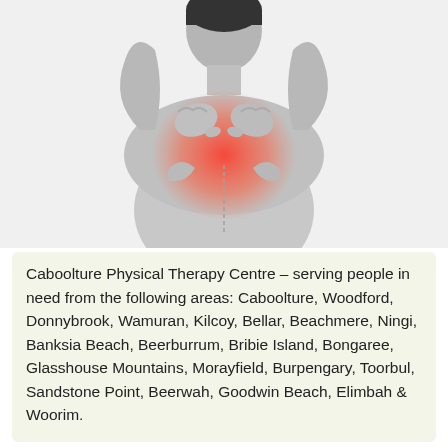[Figure (photo): Black and white photo of a person from behind, hands clasped behind their neck/upper back, with a red highlight indicating pain in the neck/upper back area.]
Caboolture Physical Therapy Centre – serving people in need from the following areas: Caboolture, Woodford, Donnybrook, Wamuran, Kilcoy, Bellar, Beachmere, Ningi, Banksia Beach, Beerburrum, Bribie Island, Bongaree, Glasshouse Mountains, Morayfield, Burpengary, Toorbul, Sandstone Point, Beerwah, Goodwin Beach, Elimbah & Woorim.